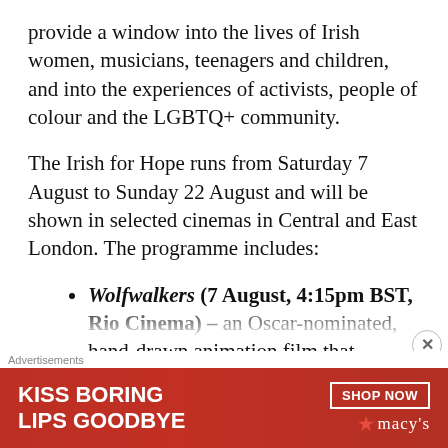provide a window into the lives of Irish women, musicians, teenagers and children, and into the experiences of activists, people of colour and the LGBTQ+ community.
The Irish for Hope runs from Saturday 7 August to Sunday 22 August and will be shown in selected cinemas in Central and East London. The programme includes:
Wolfwalkers (7 August, 4:15pm BST, Rio Cinema) – an Oscar-nominated, hand-drawn animation film that encourages young people to hold...
[Figure (other): Advertisement banner: 'KISS BORING LIPS GOODBYE' with SHOP NOW button and Macy's logo, showing a woman with red lips]